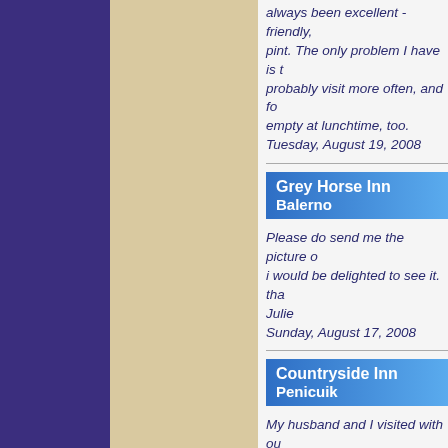always been excellent - friendly, pint. The only problem I have is t probably visit more often, and fo empty at lunchtime, too. Tuesday, August 19, 2008
Grey Horse Inn
Balerno
Please do send me the picture o i would be delighted to see it. tha Julie
Sunday, August 17, 2008
Countryside Inn
Penicuik
My husband and I visited with ou He was very friendly and his bar and worth the money. The kids m my Son's dietry needs too! Very meal for Friday coming with the g Monday, June 9, 2008
Polton Inn
Lasswade